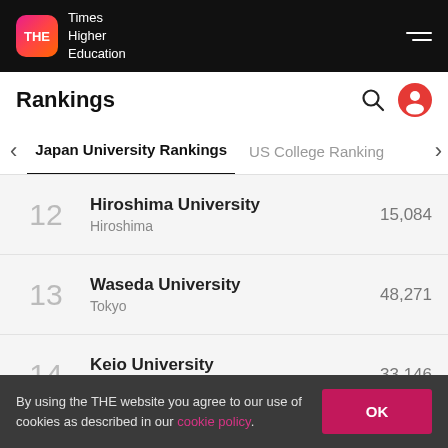THE Times Higher Education
Rankings
Japan University Rankings | US College Rankings
| Rank | University | City | Students |
| --- | --- | --- | --- |
| 12 | Hiroshima University | Hiroshima | 15,084 |
| 13 | Waseda University | Tokyo | 48,271 |
| 14 | Keio University | Tokyo | 33,146 |
By using the THE website you agree to our use of cookies as described in our cookie policy.